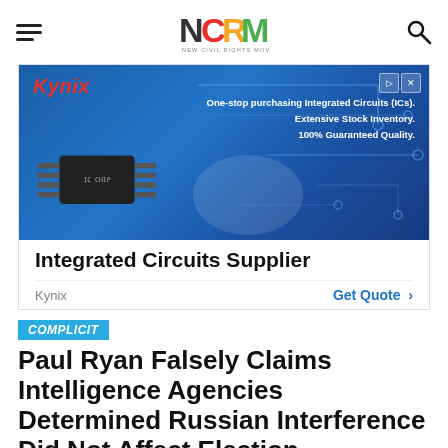NCRM – New Civil Rights Movement
[Figure (advertisement): Kynix Integrated Circuits Supplier advertisement with a blue circuit board background, an IC chip image, and text: One-stop purchasing Integrated Circuits (ICs). Extensive Stock Inventory. 100% Guaranteed Quality. Integrated Circuits Supplier. Kynix. Get Quote.]
COMPLICIT
Paul Ryan Falsely Claims Intelligence Agencies Determined Russian Interference Did Not Affect Election